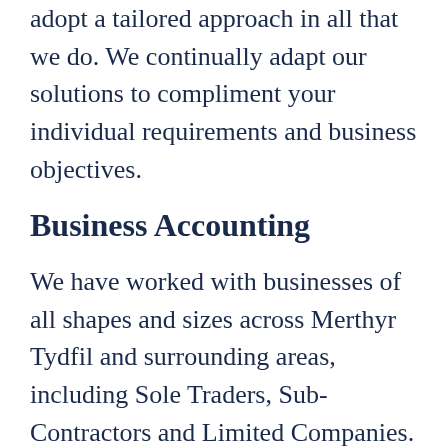adopt a tailored approach in all that we do. We continually adapt our solutions to compliment your individual requirements and business objectives.
Business Accounting
We have worked with businesses of all shapes and sizes across Merthyr Tydfil and surrounding areas, including Sole Traders, Sub-Contractors and Limited Companies. We offer support with all financial aspects, including tax,